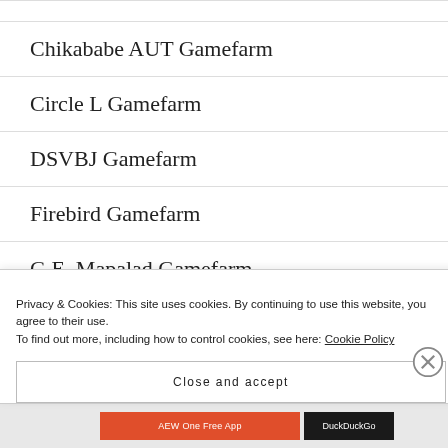Chikababe AUT Gamefarm
Circle L Gamefarm
DSVBJ Gamefarm
Firebird Gamefarm
G.E. Mapalad Gamefarm
JGL Gamefarm
Privacy & Cookies: This site uses cookies. By continuing to use this website, you agree to their use.
To find out more, including how to control cookies, see here: Cookie Policy
Close and accept